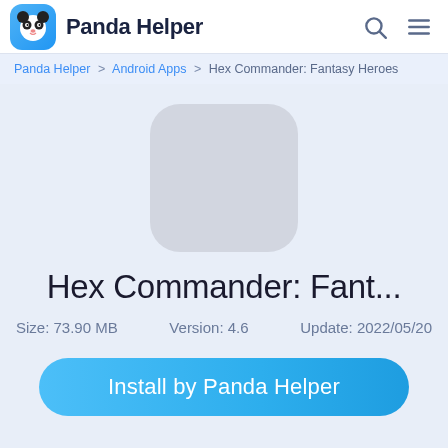Panda Helper
Panda Helper > Android Apps > Hex Commander: Fantasy Heroes
[Figure (illustration): App icon placeholder - rounded square gray box for Hex Commander: Fantasy Heroes app]
Hex Commander: Fant...
Size: 73.90 MB   Version: 4.6   Update: 2022/05/20
Install by Panda Helper